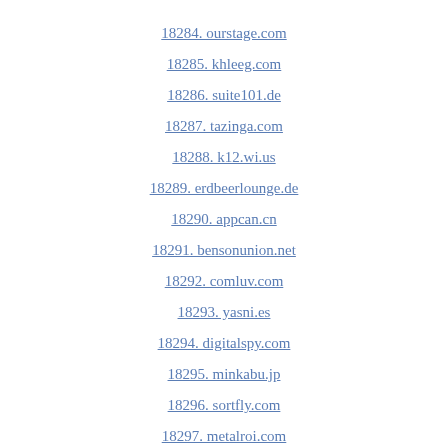18284. ourstage.com
18285. khleeg.com
18286. suite101.de
18287. tazinga.com
18288. k12.wi.us
18289. erdbeerlounge.de
18290. appcan.cn
18291. bensonunion.net
18292. comluv.com
18293. yasni.es
18294. digitalspy.com
18295. minkabu.jp
18296. sortfly.com
18297. metalroi.com